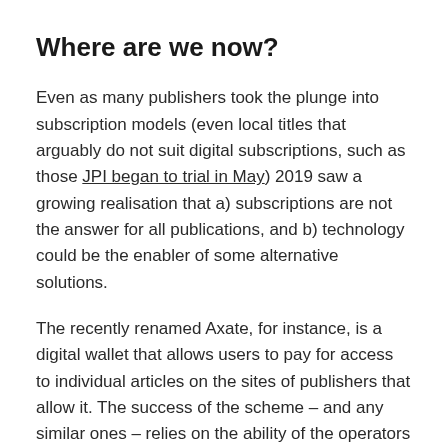Where are we now?
Even as many publishers took the plunge into subscription models (even local titles that arguably do not suit digital subscriptions, such as those JPI began to trial in May) 2019 saw a growing realisation that a) subscriptions are not the answer for all publications, and b) technology could be the enabler of some alternative solutions.
The recently renamed Axate, for instance, is a digital wallet that allows users to pay for access to individual articles on the sites of publishers that allow it. The success of the scheme – and any similar ones – relies on the ability of the operators of the (wallet) to...